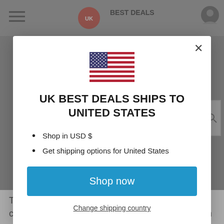[Figure (screenshot): Website header bar with hamburger menu, UK Best Deals logo, and account icon, partially visible behind modal overlay]
[Figure (illustration): American flag (Stars and Stripes) shown at center of modal]
UK BEST DEALS SHIPS TO UNITED STATES
Shop in USD $
Get shipping options for United States
Shop now
Change shipping country
The compact design features 18 tools in 1 credit card sized gadget. The 4x heat treated steel is slim enough